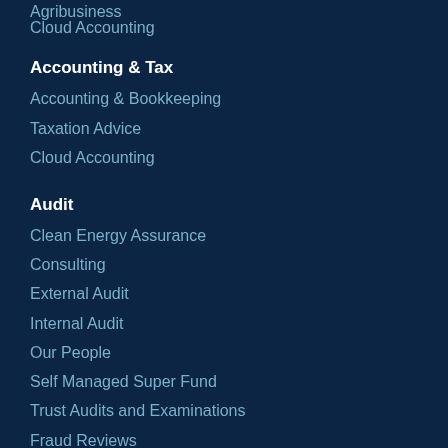Agribusiness
Cloud Accounting
Accounting & Tax
Accounting & Bookkeeping
Taxation Advice
Cloud Accounting
Audit
Clean Energy Assurance
Consulting
External Audit
Internal Audit
Our People
Self Managed Super Fund
Trust Audits and Examinations
Fraud Reviews
Risk Management
Insurance